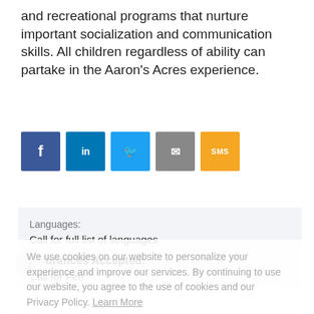and recreational programs that nurture important socialization and communication skills. All children regardless of ability can partake in the Aaron's Acres experience.
[Figure (infographic): Social share buttons: Facebook (blue), LinkedIn (blue), Twitter (light blue), Email (grey), SMS (yellow/orange)]
Languages:
Call for full list of languages
Insurances Accepted:
Call for Fee
N/A
We use cookies on our website to personalize your experience and improve our services. By continuing to use our website, you agree to the use of cookies and our Privacy Policy. Learn More
I Agree